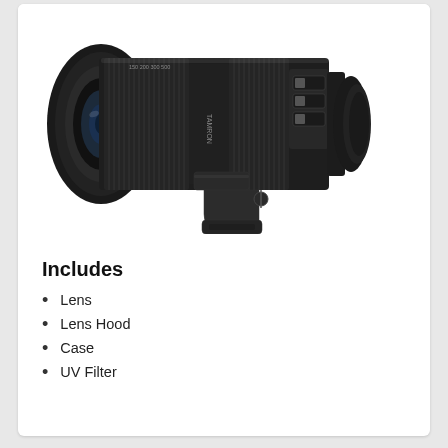[Figure (photo): A large telephoto zoom lens (Tamron) shown horizontally on a white background, with a tripod collar/foot attached underneath. The lens is black with ribbed focus and zoom rings.]
Includes
Lens
Lens Hood
Case
UV Filter